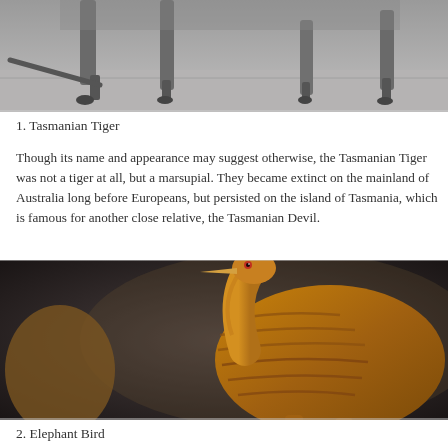[Figure (photo): Black and white photograph of Tasmanian Tiger legs and lower body on a surface, partially cropped at top]
1. Tasmanian Tiger
Though its name and appearance may suggest otherwise, the Tasmanian Tiger was not a tiger at all, but a marsupial. They became extinct on the mainland of Australia long before Europeans, but persisted on the island of Tasmania, which is famous for another close relative, the Tasmanian Devil.
[Figure (illustration): Painting or museum reconstruction of an Elephant Bird, a large flightless bird with golden-brown feathers, long neck, and stout body, shown against a dark background]
2. Elephant Bird